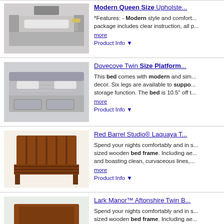[Figure (photo): Upholstered queen size bed in a bedroom setting]
Modern Queen Size Upholste...
*Features: - Modern style and comfort... package includes clear instruction, all p...
more
Product Info ▼
[Figure (photo): Dovecove twin size platform bed with storage in a bedroom]
Dovecove Twin Size Platform...
This bed comes with modern and sim... decor. Six legs are available to suppo... storage function. The bed is 10.5" off t...
more
Product Info ▼
[Figure (photo): Red Barrel Studio Laquaya wooden twin bed frame with slats]
Red Barrel Studio® Laquaya T...
Spend your nights comfortably and in s... sized wooden bed frame. Including ae... and boasting clean, curvaceous lines,...
more
Product Info ▼
[Figure (photo): Lark Manor Aftonshire twin bed with storage drawers underneath]
Lark Manor™ Aftonshire Twin B...
Spend your nights comfortably and in s... sized wooden bed frame. Including ae... and boasting clean, curvaceous lines,...
more
Product Info ▼